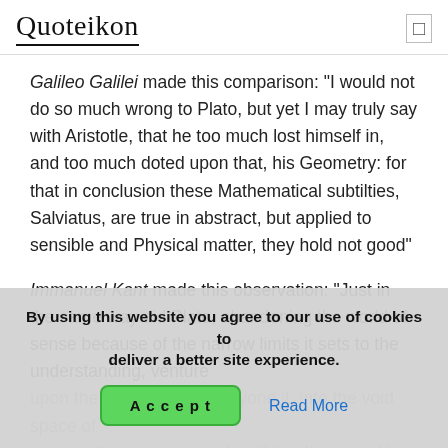Quoteikon
Galileo Galilei made this comparison: "I would not do so much wrong to Plato, but yet I may truly say with Aristotle, that he too much lost himself in, and too much doted upon that, his Geometry: for that in conclusion these Mathematical subtilties, Salviatus, are true in abstract, but applied to sensible and Physical matter, they hold not good"
Immanuel Kant made this observation: "Just in the same way did Plato, abandoning the world of sense because of the narrow limits it sets to the understanding, venture upon the wings of ideas beyond it, into the void space of pure intellect... [text continues] ...progress, by all its efforts, can never make one mile which might be..."
By using this website you agree to our use of cookies to deliver a better site experience.
Accept | Read More